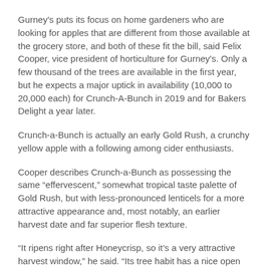Gurney's puts its focus on home gardeners who are looking for apples that are different from those available at the grocery store, and both of these fit the bill, said Felix Cooper, vice president of horticulture for Gurney's. Only a few thousand of the trees are available in the first year, but he expects a major uptick in availability (10,000 to 20,000 each) for Crunch-A-Bunch in 2019 and for Bakers Delight a year later.
Crunch-a-Bunch is actually an early Gold Rush, a crunchy yellow apple with a following among cider enthusiasts.
Cooper describes Crunch-a-Bunch as possessing the same “effervescent,” somewhat tropical taste palette of Gold Rush, but with less-pronounced lenticels for a more attractive appearance and, most notably, an earlier harvest date and far superior flesh texture.
“It ripens right after Honeycrisp, so it’s a very attractive harvest window,” he said. “Its tree habit has a nice open form, and it’s that way right out of the gate, so it’s an easy tree form to manage.”
Bakers Delight, a cross of Gold Rush x Sweet 16, is well suited to